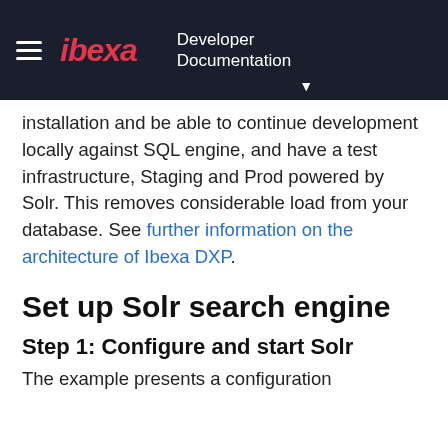ibexa — Developer Documentation
installation and be able to continue development locally against SQL engine, and have a test infrastructure, Staging and Prod powered by Solr. This removes considerable load from your database. See further information on the architecture of Ibexa DXP.
Set up Solr search engine
Step 1: Configure and start Solr
The example presents a configuration